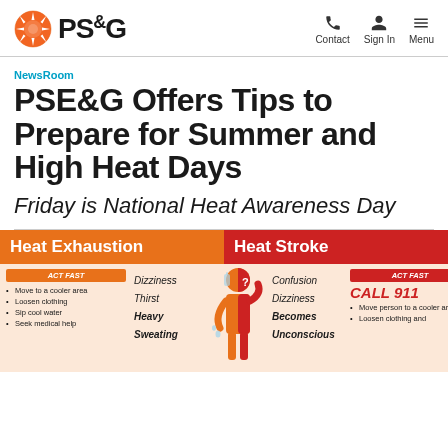PSE&G — Contact, Sign In, Menu
NewsRoom
PSE&G Offers Tips to Prepare for Summer and High Heat Days
Friday is National Heat Awareness Day
[Figure (infographic): Heat Exhaustion vs Heat Stroke infographic showing symptoms and ACT FAST instructions. Left (orange): Heat Exhaustion — Dizziness, Thirst, Heavy Sweating; ACT FAST: Move to a cooler area, Loosen clothing, Sip cool water, Seek medical help. Right (red): Heat Stroke — Confusion, Dizziness, Becomes Unconscious; ACT FAST CALL 911: Move person to a cooler area, Loosen clothing and...]